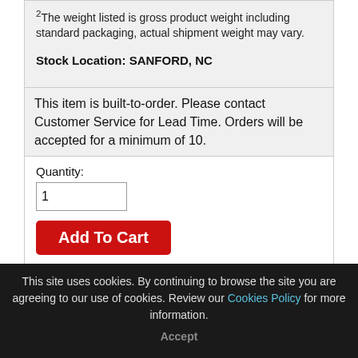2The weight listed is gross product weight including standard packaging, actual shipment weight may vary.
Stock Location: SANFORD, NC
This item is built-to-order. Please contact Customer Service for Lead Time. Orders will be accepted for a minimum of 10.
Quantity:
Add To Cart
Add To RPL
Request a Sample
Feedback
SHARE
Features | Technical | Videos | Additional Info
This site uses cookies. By continuing to browse the site you are agreeing to our use of cookies. Review our Cookies Policy for more information.
Accept